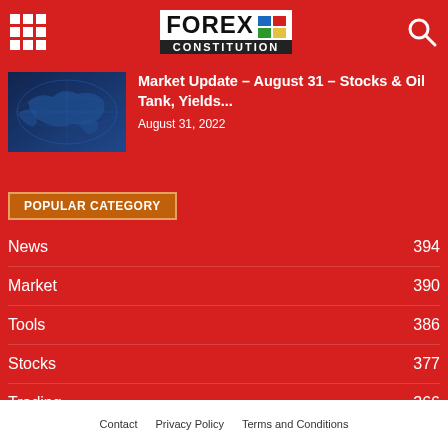FOREX CONSTITUTION
[Figure (screenshot): Thumbnail image of world map with blue globe/finance graphic]
Market Update – August 31 – Stocks & Oil Tank, Yields...
August 31, 2022
POPULAR CATEGORY
News 394
Market 390
Tools 386
Stocks 377
Trading 366
Contact   Privacy Policy   Terms and Conditions